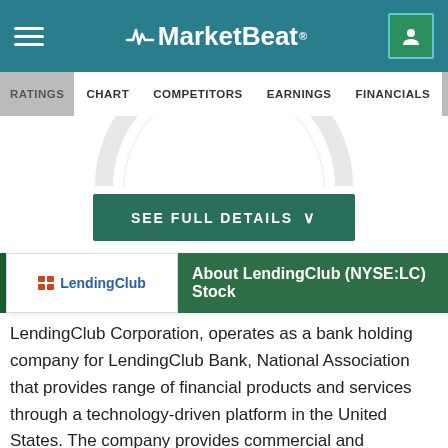MarketBeat
RATINGS CHART COMPETITORS EARNINGS FINANCIALS INSIDER TRADES
[Figure (other): Partial circular gauge or donut chart graphic, showing only the upper arc.]
SEE FULL DETAILS
[Figure (logo): LendingClub logo with red grid icon and blue text 'LendingClub']
About LendingClub (NYSE:LC) Stock
LendingClub Corporation, operates as a bank holding company for LendingClub Bank, National Association that provides range of financial products and services through a technology-driven platform in the United States. The company provides commercial and industrial, commercial real estate, small business, and equipment loans, as well as